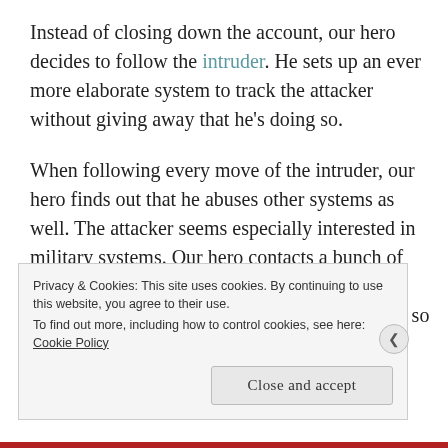Instead of closing down the account, our hero decides to follow the intruder. He sets up an ever more elaborate system to track the attacker without giving away that he's doing so.
When following every move of the intruder, our hero finds out that he abuses other systems as well. The attacker seems especially interested in military systems. Our hero contacts a bunch of organizations like the CIA, FBI, and NSA, but none of those seem able or willing to help him, so he keeps following the
Privacy & Cookies: This site uses cookies. By continuing to use this website, you agree to their use.
To find out more, including how to control cookies, see here: Cookie Policy
Close and accept